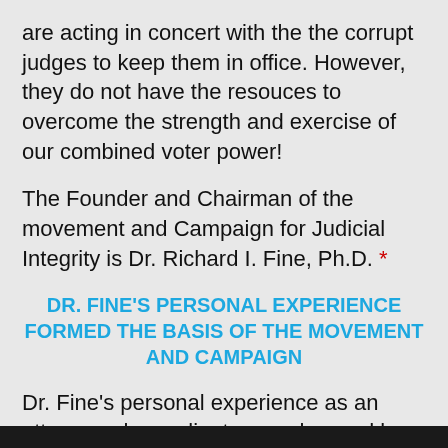are acting in concert with the the corrupt judges to keep them in office. However, they do not have the resouces to overcome the strength and exercise of our combined voter power!
The Founder and Chairman of the movement and Campaign for Judicial Integrity is Dr. Richard I. Fine, Ph.D. *
DR. FINE'S PERSONAL EXPERIENCE FORMED THE BASIS OF THE MOVEMENT AND CAMPAIGN
Dr. Fine's personal experience as an attorney whose clients were harmed by the judicial corruption, as the attorney expo the judicial